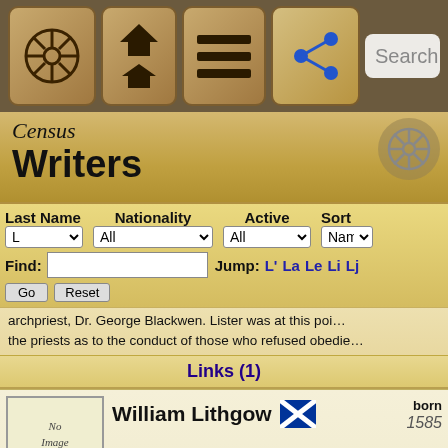Census Writers - Navigation bar with Search
Census
Writers
Last Name | Nationality | Active | Sort
Find: | Jump: L' La Le Li Lj
archpriest, Dr. George Blackwen. Lister was at this point the priests as to the conduct of those who refused obedie...
Links (1)
William Lithgow
born 1585
a traveler, writer and alleged spy. He claimed at the end of peregrinations to have tramped 36,000 miles on foot. Prior visited Shetland, Switzerland, and Bohemia. In that year he for Rome on the 7 March, where he remained for four we to other parts of Italy: Naples, Ancona, before moving on